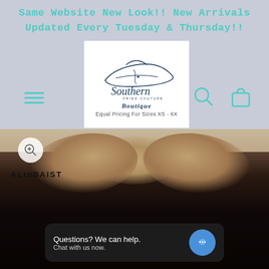Same Website New Look!! New Arrivals Updated Every Tuesday & Thursday!!
[Figure (logo): Southern Fried Couture Boutique logo with illustrated woman wearing a wide-brim hat, script lettering 'Southern' with 'FRIED COUTURE' text, 'Boutique' subtitle, and tagline 'Equal Pricing For Sizes XS - 6X']
[Figure (photo): Screenshot of a clothing boutique website showing a product photo of a person wearing a black bodysuit/corset, with a zoom button, ALINBAIST brand label, and a chat widget overlay reading 'Questions? We can help. Chat with us now.']